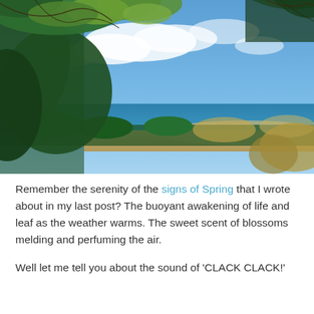[Figure (photo): Outdoor beach scene photographed from an elevated position through green tree branches. Blue sky with scattered white clouds in the upper portion. A calm blue ocean stretches across the middle distance. Sandy beach is visible with some trees and shrubs in the foreground/lower area.]
Remember the serenity of the signs of Spring that I wrote about in my last post? The buoyant awakening of life and leaf as the weather warms. The sweet scent of blossoms melding and perfuming the air.
Well let me tell you about the sound of 'CLACK CLACK!'